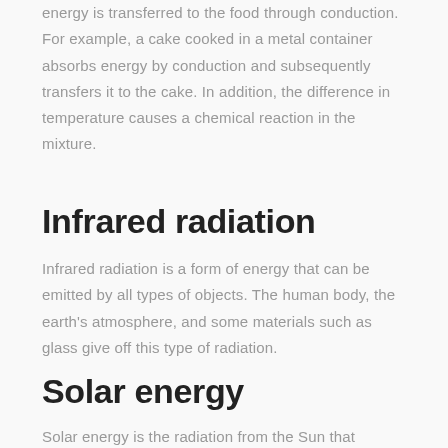energy is transferred to the food through conduction. For example, a cake cooked in a metal container absorbs energy by conduction and subsequently transfers it to the cake. In addition, the difference in temperature causes a chemical reaction in the mixture.
Infrared radiation
Infrared radiation is a form of energy that can be emitted by all types of objects. The human body, the earth's atmosphere, and some materials such as glass give off this type of radiation.
Solar energy
Solar energy is the radiation from the Sun that